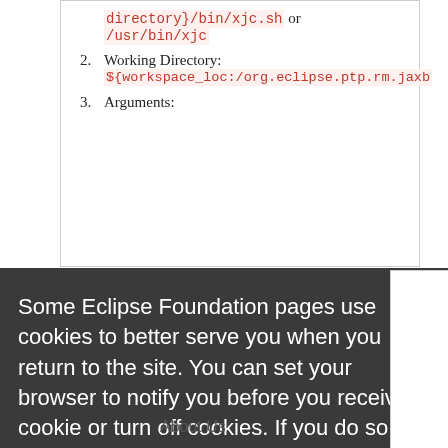directory}/bin/xjc.sh or /usr/bin/xjc
2. Working Directory: ${workspace_loc:/org.eclipse.ptp.rm.jaxb
3. Arguments:
Some Eclipse Foundation pages use cookies to better serve you when you return to the site. You can set your browser to notify you before you receive a cookie or turn off cookies. If you do so, however, some areas of some sites may not function properly. To read Eclipse Foundation Privacy Policy click here.
Decline
Allow cookies
About Us